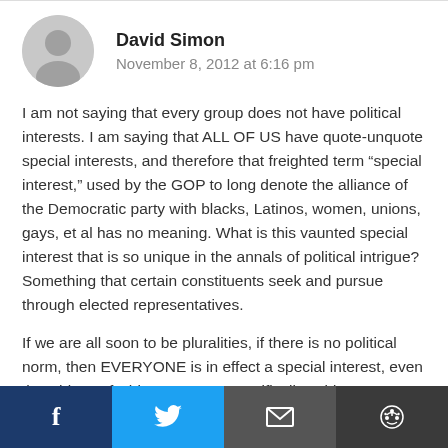David Simon
November 8, 2012 at 6:16 pm
I am not saying that every group does not have political interests. I am saying that ALL OF US have quote-unquote special interests, and therefore that freighted term “special interest,” used by the GOP to long denote the alliance of the Democratic party with blacks, Latinos, women, unions, gays, et al has no meaning. What is this vaunted special interest that is so unique in the annals of political intrigue? Something that certain constituents seek and pursue through elected representatives.
If we are all soon to be pluralities, if there is no political norm, then EVERYONE is in effect a special interest, even the whitest of white guys, as I specifically said. Even